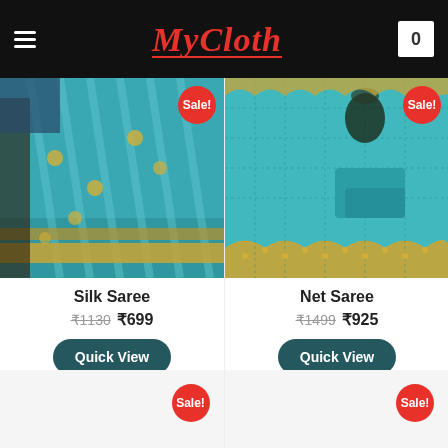MyCloth
[Figure (photo): Teal silk saree with golden border embroidery, draped and displayed]
Silk Saree
₹1130 ₹699
Quick View
[Figure (photo): Teal net saree with golden scalloped pearl border laid flat with decorative vase]
Net Saree
₹1499 ₹925
Quick View